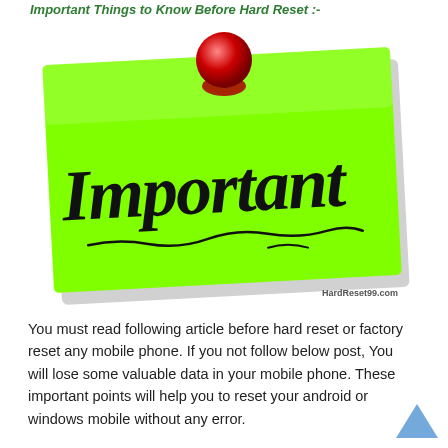Important Things to Know Before Hard Reset :-
[Figure (illustration): A bright green sticky note tilted slightly, with the word 'Important' written in large black italic script font, underlined with a squiggly line. A red pushpin is stuck at the top center of the note. Watermark reads HardReset99.com.]
You must read following article before hard reset or factory reset any mobile phone. If you not follow below post, You will lose some valuable data in your mobile phone. These important points will help you to reset your android or windows mobile without any error.